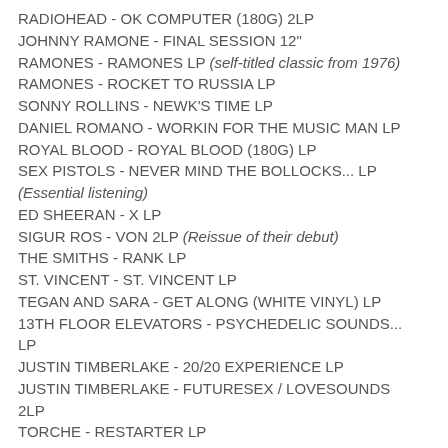RADIOHEAD - OK COMPUTER (180G)  2LP
JOHNNY RAMONE - FINAL SESSION  12"
RAMONES - RAMONES  LP  (self-titled classic from 1976)
RAMONES - ROCKET TO RUSSIA  LP
SONNY ROLLINS - NEWK'S TIME  LP
DANIEL ROMANO - WORKIN FOR THE MUSIC MAN  LP
ROYAL BLOOD - ROYAL BLOOD (180G)  LP
SEX PISTOLS - NEVER MIND THE BOLLOCKS...  LP
(Essential listening)
ED SHEERAN - X  LP
SIGUR ROS - VON  2LP  (Reissue of their debut)
THE SMITHS - RANK  LP
ST. VINCENT -  ST. VINCENT  LP
TEGAN AND SARA - GET ALONG (WHITE VINYL)  LP
13TH FLOOR ELEVATORS -  PSYCHEDELIC SOUNDS...  LP
JUSTIN TIMBERLAKE - 20/20 EXPERIENCE  LP
JUSTIN TIMBERLAKE - FUTURESEX / LOVESOUNDS  2LP
TORCHE - RESTARTER  LP
2 PAC -  ALL EYEZ ON ME   LP
CHAD VANGAALEN - SOFT AIRPLANE  LP